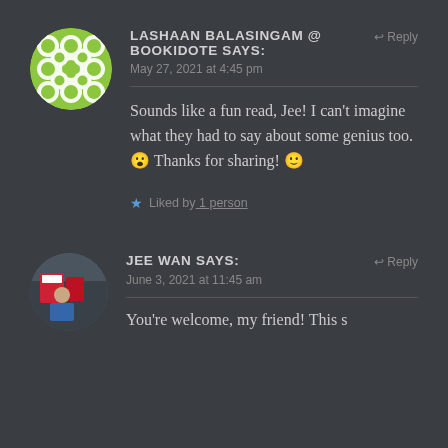[Figure (illustration): Circular avatar with green and white geometric diamond/flower pattern on dark background]
LASHAAN BALASINGAM @ BOOKIDOTE says:
Reply
May 27, 2021 at 4:45 pm
Sounds like a fun read, Jee! I can't imagine what they had to say about some genius too. 😮 Thanks for sharing! 🙂
★ Liked by 1 person
[Figure (photo): Circular avatar photo of a person at a bookstore or fair, with red and white signage in background]
JEE WAN says:
Reply
June 3, 2021 at 11:45 am
You're welcome, my friend! This s...